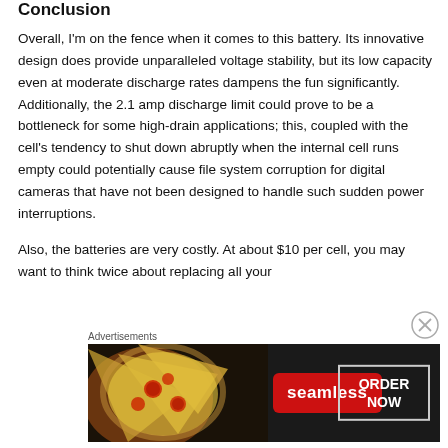Conclusion
Overall, I'm on the fence when it comes to this battery. Its innovative design does provide unparalleled voltage stability, but its low capacity even at moderate discharge rates dampens the fun significantly. Additionally, the 2.1 amp discharge limit could prove to be a bottleneck for some high-drain applications; this, coupled with the cell's tendency to shut down abruptly when the internal cell runs empty could potentially cause file system corruption for digital cameras that have not been designed to handle such sudden power interruptions.
Also, the batteries are very costly. At about $10 per cell, you may want to think twice about replacing all your
Advertisements
[Figure (photo): Seamless food delivery advertisement showing pizza with ORDER NOW button]